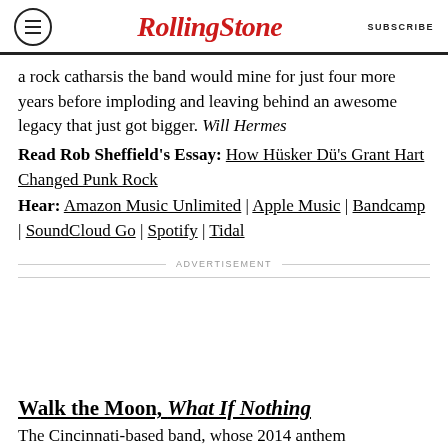RollingStone | SUBSCRIBE
a rock catharsis the band would mine for just four more years before imploding and leaving behind an awesome legacy that just got bigger. Will Hermes
Read Rob Sheffield's Essay: How Hüsker Dü's Grant Hart Changed Punk Rock
Hear: Amazon Music Unlimited | Apple Music | Bandcamp | SoundCloud Go | Spotify | Tidal
ADVERTISEMENT
Walk the Moon, What If Nothing
The Cincinnati-based band, whose 2014 anthem